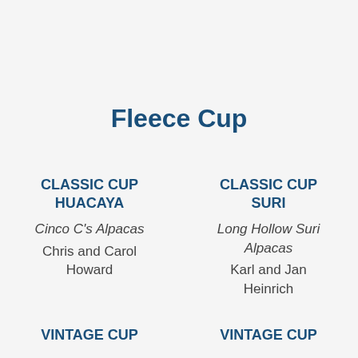Fleece Cup
CLASSIC CUP
HUACAYA
Cinco C's Alpacas
Chris and Carol Howard
CLASSIC CUP
SURI
Long Hollow Suri Alpacas
Karl and Jan Heinrich
VINTAGE CUP
VINTAGE CUP